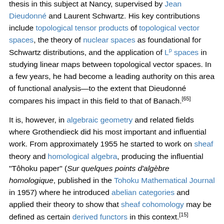thesis in this subject at Nancy, supervised by Jean Dieudonné and Laurent Schwartz. His key contributions include topological tensor products of topological vector spaces, the theory of nuclear spaces as foundational for Schwartz distributions, and the application of L^p spaces in studying linear maps between topological vector spaces. In a few years, he had become a leading authority on this area of functional analysis—to the extent that Dieudonné compares his impact in this field to that of Banach.[65]
It is, however, in algebraic geometry and related fields where Grothendieck did his most important and influential work. From approximately 1955 he started to work on sheaf theory and homological algebra, producing the influential "Tôhoku paper" (Sur quelques points d'algèbre homologique, published in the Tohoku Mathematical Journal in 1957) where he introduced abelian categories and applied their theory to show that sheaf cohomology may be defined as certain derived functors in this context.[15]